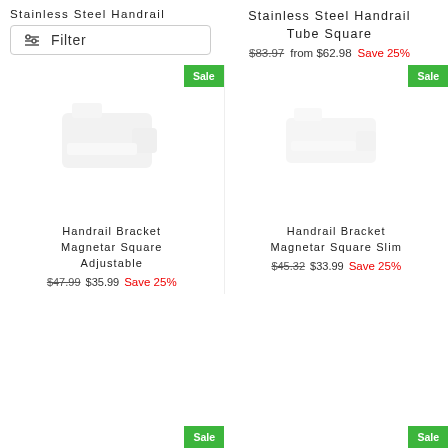Stainless Steel Handrail
[Figure (other): Filter button with sliders icon]
Stainless Steel Handrail Tube Square
$83.97  from $62.98  Save 25%
[Figure (photo): Sale badge - green rectangle with white Sale text, top of left product column]
[Figure (photo): Sale badge - green rectangle with white Sale text, top of right product column]
[Figure (photo): Product image: Handrail Bracket Magnetar Square Adjustable - light gray bracket illustration]
[Figure (photo): Product image: Handrail Bracket Magnetar Square Slim - light gray bracket illustration]
Handrail Bracket Magnetar Square Adjustable
$47.99  $35.99  Save 25%
Handrail Bracket Magnetar Square Slim
$45.32  $33.99  Save 25%
[Figure (photo): Sale badge bottom left - green rectangle with white Sale text]
[Figure (photo): Sale badge bottom right - green rectangle with white Sale text]